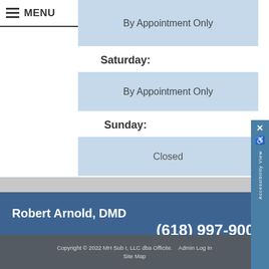MENU
By Appointment Only
Saturday:
By Appointment Only
Sunday:
Closed
Robert Arnold, DMD
(618) 997-9005
Copyright © 2022 MH Sub I, LLC dba Officite.   Admin Log In   Site Map